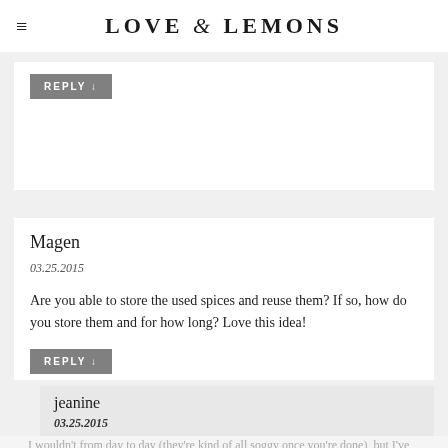LOVE & LEMONS
REPLY ↓
Magen
03.25.2015
Are you able to store the used spices and reuse them? If so, how do you store them and for how long? Love this idea!
REPLY ↓
jeanine
03.25.2015
I wouldn't from day to day (they're kind of all soggy once you're done), but I've left them in throughout the day as I refilled my cup. Also, be sure to get yours in the